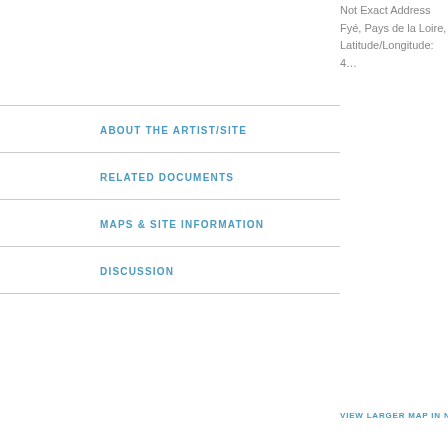Not Exact Address
Fyé, Pays de la Loire,
Latitude/Longitude: 4…
ABOUT THE ARTIST/SITE
RELATED DOCUMENTS
MAPS & SITE INFORMATION
DISCUSSION
VIEW LARGER MAP IN NEW W…